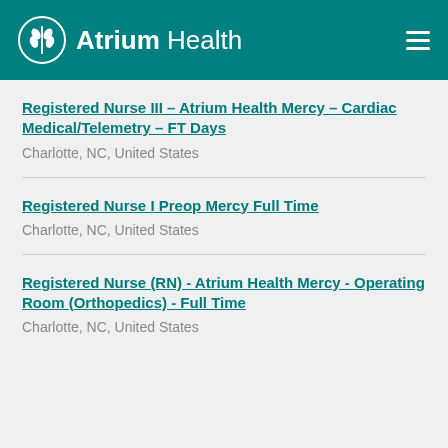Atrium Health
Registered Nurse III – Atrium Health Mercy – Cardiac Medical/Telemetry – FT Days
Charlotte, NC, United States
Registered Nurse I Preop Mercy Full Time
Charlotte, NC, United States
Registered Nurse (RN) - Atrium Health Mercy - Operating Room (Orthopedics) - Full Time
Charlotte, NC, United States